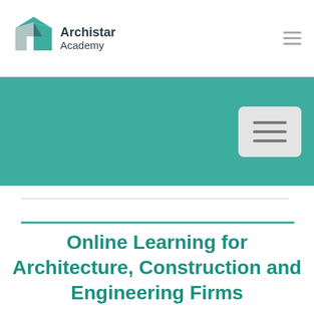Archistar Academy
[Figure (logo): Archistar Academy logo with green/teal geometric mortar board icon and bold text 'Archistar Academy']
[Figure (screenshot): Teal navigation banner with hamburger menu button in a light grey rounded rectangle]
Online Learning for Architecture, Construction and Engineering Firms